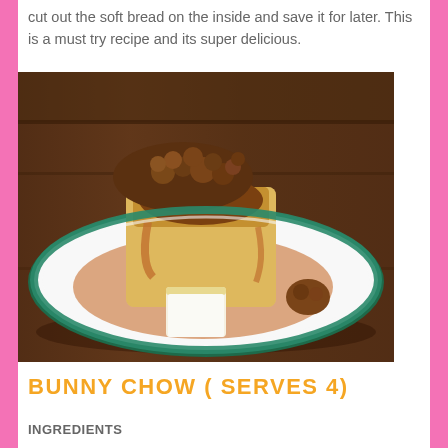cut out the soft bread on the inside and save it for later. This is a must try recipe and its super delicious.
[Figure (photo): A plate of bunny chow — a hollowed-out bread loaf filled with curry meat and sauce, served on a white plate with a green rim, with a piece of bread on the side, set on a wooden surface.]
BUNNY CHOW ( SERVES 4)
INGREDIENTS